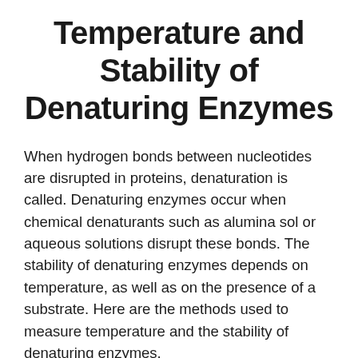Temperature and Stability of Denaturing Enzymes
When hydrogen bonds between nucleotides are disrupted in proteins, denaturation is called. Denaturing enzymes occur when chemical denaturants such as alumina sol or aqueous solutions disrupt these bonds. The stability of denaturing enzymes depends on temperature, as well as on the presence of a substrate. Here are the methods used to measure temperature and the stability of denaturing enzymes.
In a biological process, the hydrogen bonding